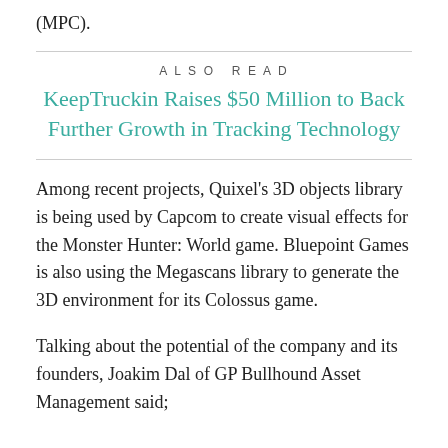Spring (Crunchbase, an), Movio, Length (MPC).
ALSO READ
KeepTruckin Raises $50 Million to Back Further Growth in Tracking Technology
Among recent projects, Quixel's 3D objects library is being used by Capcom to create visual effects for the Monster Hunter: World game. Bluepoint Games is also using the Megascans library to generate the 3D environment for its Colossus game.
Talking about the potential of the company and its founders, Joakim Dal of GP Bullhound Asset Management said;